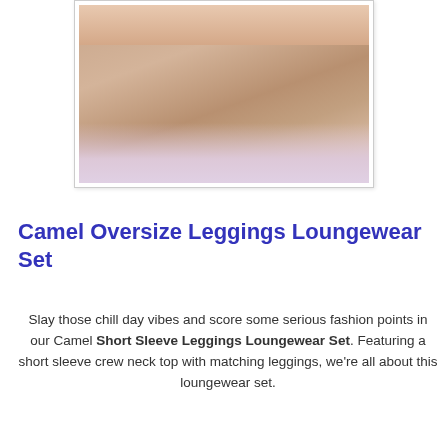[Figure (photo): A photo showing a person kneeling on a light purple/lavender carpet wearing camel/tan colored leggings and a matching top, photographed from mid-torso down.]
Camel Oversize Leggings Loungewear Set
Slay those chill day vibes and score some serious fashion points in our Camel Short Sleeve Leggings Loungewear Set. Featuring a short sleeve crew neck top with matching leggings, we're all about this loungewear set.